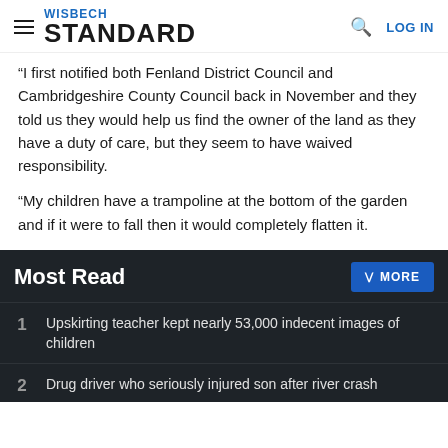WISBECH STANDARD — LOG IN
“I first notified both Fenland District Council and Cambridgeshire County Council back in November and they told us they would help us find the owner of the land as they have a duty of care, but they seem to have waived responsibility.
“My children have a trampoline at the bottom of the garden and if it were to fall then it would completely flatten it.
Most Read
1 Upskirting teacher kept nearly 53,000 indecent images of children
2 Drug driver who seriously injured son after river crash